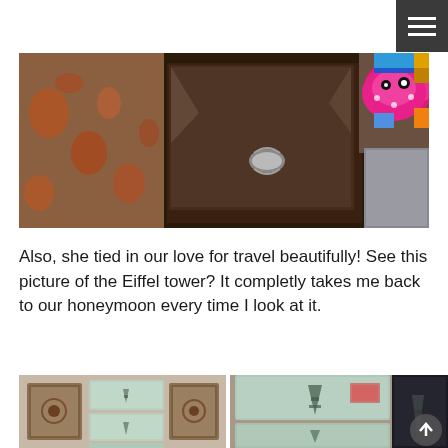[Figure (photo): Drawer chest with an open top drawer filled with colorful stuffed animals/toys (pink and white plush octopus, colorful toys). A silver drawer pull is visible. Watermark reads MOMMYBIGGER.COM.]
Also, she tied in our love for travel beautifully! See this picture of the Eiffel tower? It completly takes me back to our honeymoon every time I look at it.
[Figure (photo): Wall gallery of framed pictures including Eiffel tower illustrations/prints arranged on a light-colored wall. Decorative frames with ornate patterns visible.]
[Figure (photo): Close-up of framed Eiffel tower prints/illustrations on wall, similar gallery arrangement viewed from a different angle.]